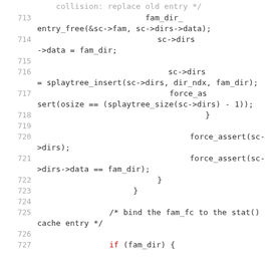[Figure (screenshot): Source code listing showing lines 713-727 of a C file with syntax highlighting. Red keywords (else, if) and gray line numbers visible.]